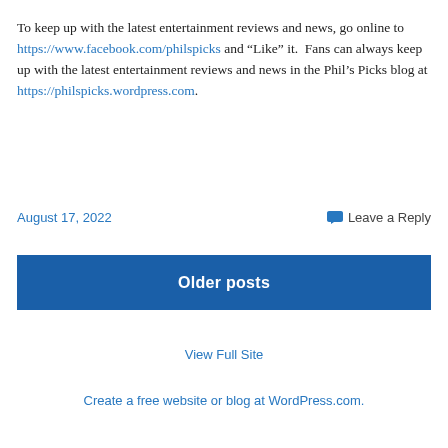To keep up with the latest entertainment reviews and news, go online to https://www.facebook.com/philspicks and “Like” it.  Fans can always keep up with the latest entertainment reviews and news in the Phil’s Picks blog at https://philspicks.wordpress.com.
August 17, 2022
Leave a Reply
Older posts
View Full Site
Create a free website or blog at WordPress.com.